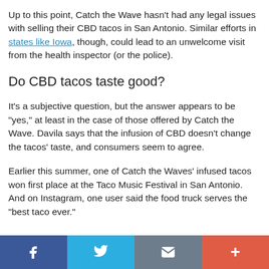Up to this point, Catch the Wave hasn't had any legal issues with selling their CBD tacos in San Antonio. Similar efforts in states like Iowa, though, could lead to an unwelcome visit from the health inspector (or the police).
Do CBD tacos taste good?
It's a subjective question, but the answer appears to be "yes," at least in the case of those offered by Catch the Wave. Davila says that the infusion of CBD doesn't change the tacos' taste, and consumers seem to agree.
Earlier this summer, one of Catch the Waves' infused tacos won first place at the Taco Music Festival in San Antonio. And on Instagram, one user said the food truck serves the "best taco ever."
Facebook | Twitter | Email | +